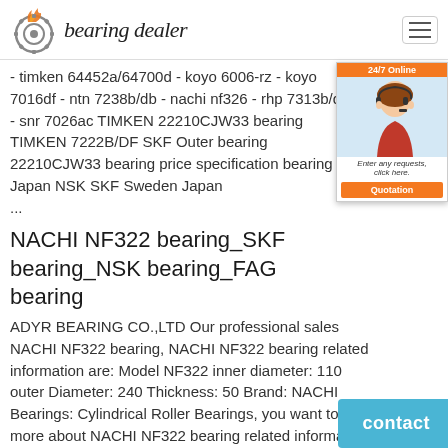bearing dealer
- timken 64452a/64700d - koyo 6006-rz - koyo 7016df - ntn 7238b/db - nachi nf326 - rhp 7313b/df - snr 7026ac TIMKEN 22210CJW33 bearing TIMKEN 7222B/DF SKF Outer bearing 22210CJW33 bearing price specification bearing Japan NSK SKF Sweden Japan ...
NACHI NF322 bearing_SKF bearing_NSK bearing_FAG bearing
ADYR BEARING CO.,LTD Our professional sales NACHI NF322 bearing, NACHI NF322 bearing related information are: Model NF322 inner diameter: 110 outer Diameter: 240 Thickness: 50 Brand: NACHI Bearings: Cylindrical Roller Bearings, you want to know more about NACHI NF322 bearing related information, you can consult online or call the hotline, we will detail for you.
RIV NF322 Bearings | RIV NF322 Bearing